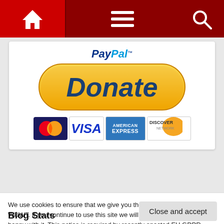Navigation bar with home, menu, and search icons
[Figure (screenshot): PayPal Donate button with MasterCard, VISA, American Express, and Discover payment card logos]
The Maxim of our resolve
We use cookies to ensure that we give you the best experience on WUWT. If you continue to use this site we will assume that you are happy with it. This notice is required by recently enacted EU GDPR rules, and since WUWT is a globally read website, we need to keep the bureaucrats off our case! Cookie Policy
Close and accept
Blog Stats